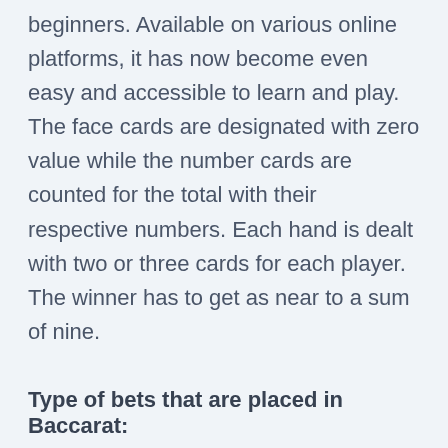beginners. Available on various online platforms, it has now become even easy and accessible to learn and play. The face cards are designated with zero value while the number cards are counted for the total with their respective numbers. Each hand is dealt with two or three cards for each player. The winner has to get as near to a sum of nine.
Type of bets that are placed in Baccarat:
The game of Baccarat is quite more straightforward to understand. The three types of bets are: